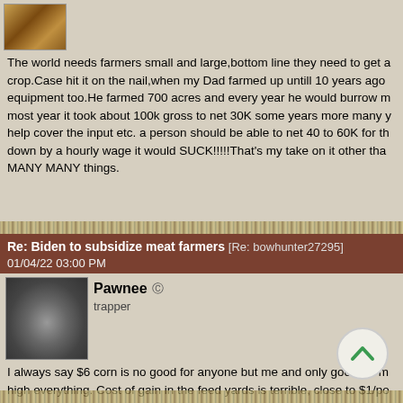[Figure (photo): Small avatar thumbnail of an animal (appears to be a fox or similar) in top-left corner]
The world needs farmers small and large,bottom line they need to get a crop.Case hit it on the nail,when my Dad farmed up untill 10 years ago equipment too.He farmed 700 acres and every year he would burrow m most year it took about 100k gross to net 30K some years more many y help cover the input etc. a person should be able to net 40 to 60K for th down by a hourly wage it would SUCK!!!!!That's my take on it other tha MANY MANY things.
Re: Biden to subsidize meat farmers [Re: bowhunter27295]
01/04/22 03:00 PM
[Figure (photo): Avatar of user Pawnee showing a badger or similar animal]
Pawnee
trapper
I always say $6 corn is no good for anyone but me and only good for m high everything. Cost of gain in the feed yards is terrible, close to $1/po winter $1400-1500 now! Roundup was $15/gal now $65! I personally th